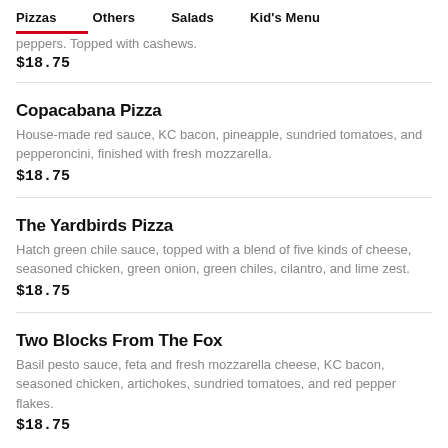Pizzas  Others  Salads  Kid's Menu
peppers. Topped with cashews.
$18.75
Copacabana Pizza
House-made red sauce, KC bacon, pineapple, sundried tomatoes, and pepperoncini, finished with fresh mozzarella.
$18.75
The Yardbirds Pizza
Hatch green chile sauce, topped with a blend of five kinds of cheese, seasoned chicken, green onion, green chiles, cilantro, and lime zest.
$18.75
Two Blocks From The Fox
Basil pesto sauce, feta and fresh mozzarella cheese, KC bacon, seasoned chicken, artichokes, sundried tomatoes, and red pepper flakes.
$18.75